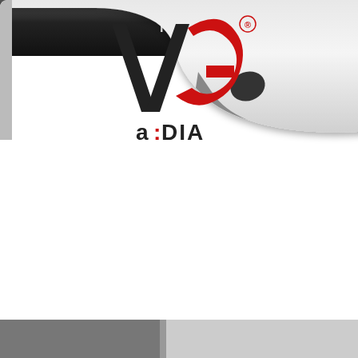[Figure (logo): ADIA brand logo with stylized A and G shapes in black and red, with registered trademark symbol, on a silver metallic curled page/banner. Text reads 'a:DIA' in lowercase with red colon. Navigation bar in dark background shows 'Home' and 'Produ...' (Products truncated).]
Home  Produ